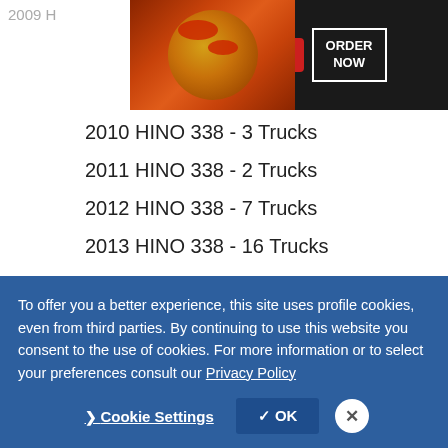[Figure (screenshot): Seamless food delivery advertisement banner with pizza image, Seamless logo in red, and ORDER NOW button on dark background]
2009 H...
2010 HINO 338 - 3 Trucks
2011 HINO 338 - 2 Trucks
2012 HINO 338 - 7 Trucks
2013 HINO 338 - 16 Trucks
2014 HINO 338 - 29 Trucks
2015 HINO 338 - 23 Trucks
2016 HINO 338 - 21 Trucks
2017 HINO 338 - 11 Trucks
To offer you a better experience, this site uses profile cookies, even from third parties. By continuing to use this website you consent to the use of cookies. For more information or to select your preferences consult our Privacy Policy
Cookie Settings  ✓ OK